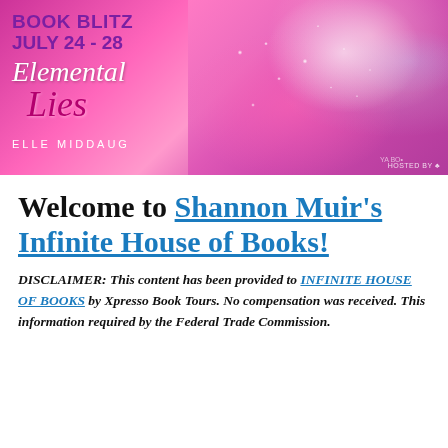[Figure (illustration): Book blitz banner for 'Elemental Lies' by Elle Middaugh, July 24-28, featuring a close-up of a woman's face with pink glitter and bokeh effects, blue eyes visible. Text includes 'BOOK BLITZ JULY 24-28', 'Elemental Lies', 'ELLE MIDDAUG[H]', and a 'Hosted by' badge.]
Welcome to Shannon Muir's Infinite House of Books!
DISCLAIMER: This content has been provided to INFINITE HOUSE OF BOOKS by Xpresso Book Tours. No compensation was received. This information required by the Federal Trade Commission.